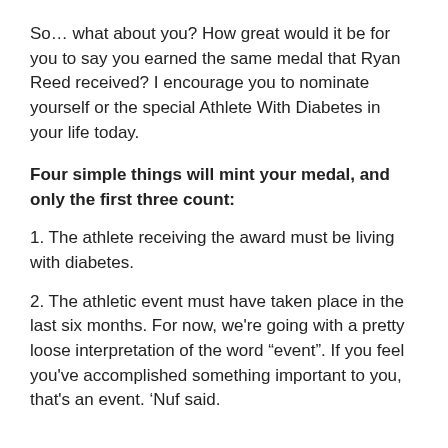So… what about you? How great would it be for you to say you earned the same medal that Ryan Reed received? I encourage you to nominate yourself or the special Athlete With Diabetes in your life today.
Four simple things will mint your medal, and only the first three count:
1. The athlete receiving the award must be living with diabetes.
2. The athletic event must have taken place in the last six months. For now, we're going with a pretty loose interpretation of the word “event”. If you feel you've accomplished something important to you, that's an event. 'Nuf said.